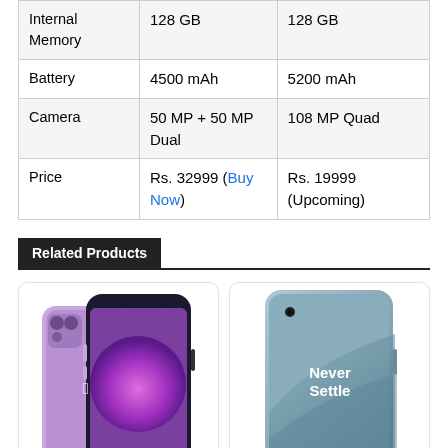|  | Col1 | Col2 |
| --- | --- | --- |
| Internal Memory | 128 GB | 128 GB |
| Battery | 4500 mAh | 5200 mAh |
| Camera | 50 MP + 50 MP Dual | 108 MP Quad |
| Price | Rs. 32999 (Buy Now) | Rs. 19999 (Upcoming) |
Related Products
[Figure (photo): Purple iPhone 12 with dual camera]
[Figure (photo): OnePlus phone with 'Never Settle' text on screen]